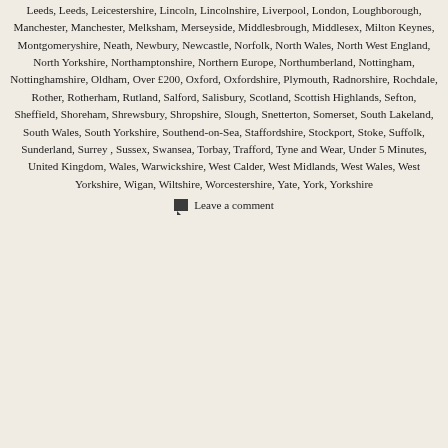Leeds, Leeds, Leicestershire, Lincoln, Lincolnshire, Liverpool, London, Loughborough, Manchester, Manchester, Melksham, Merseyside, Middlesbrough, Middlesex, Milton Keynes, Montgomeryshire, Neath, Newbury, Newcastle, Norfolk, North Wales, North West England, North Yorkshire, Northamptonshire, Northern Europe, Northumberland, Nottingham, Nottinghamshire, Oldham, Over £200, Oxford, Oxfordshire, Plymouth, Radnorshire, Rochdale, Rother, Rotherham, Rutland, Salford, Salisbury, Scotland, Scottish Highlands, Sefton, Sheffield, Shoreham, Shrewsbury, Shropshire, Slough, Snetterton, Somerset, South Lakeland, South Wales, South Yorkshire, Southend-on-Sea, Staffordshire, Stockport, Stoke, Suffolk, Sunderland, Surrey, Sussex, Swansea, Torbay, Trafford, Tyne and Wear, Under 5 Minutes, United Kingdom, Wales, Warwickshire, West Calder, West Midlands, West Wales, West Yorkshire, Wigan, Wiltshire, Worcestershire, Yate, York, Yorkshire
Leave a comment